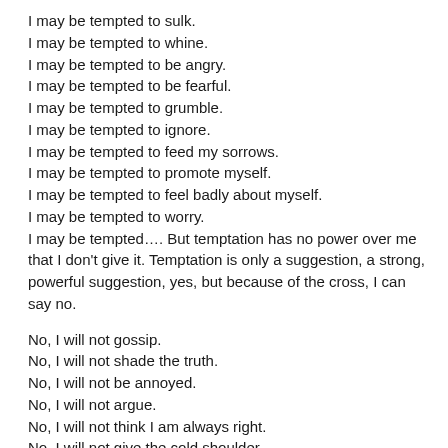I may be tempted to sulk.
I may be tempted to whine.
I may be tempted to be angry.
I may be tempted to be fearful.
I may be tempted to grumble.
I may be tempted to ignore.
I may be tempted to feed my sorrows.
I may be tempted to promote myself.
I may be tempted to feel badly about myself.
I may be tempted to worry.
I may be tempted…. But temptation has no power over me that I don't give it. Temptation is only a suggestion, a strong, powerful suggestion, yes, but because of the cross, I can say no.
No, I will not gossip.
No, I will not shade the truth.
No, I will not be annoyed.
No, I will not argue.
No, I will not think I am always right.
No, I will not give the cold shoulder.
No, I will not complain.
No, I will not sulk.
No, I will not whine.